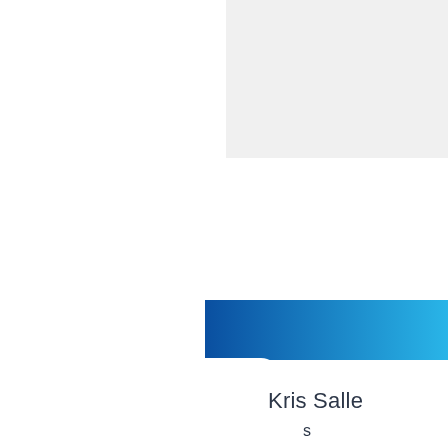[Figure (illustration): Light gray rectangle in the top-right corner of the page, serving as a background design element.]
[Figure (illustration): Blue gradient L-shaped decorative panel in the lower-right area. The gradient transitions from dark blue on the left/top to lighter cyan/teal on the right. The shape has a rounded inner corner at the bottom-left, forming an L or bracket shape.]
Kris Salle
s